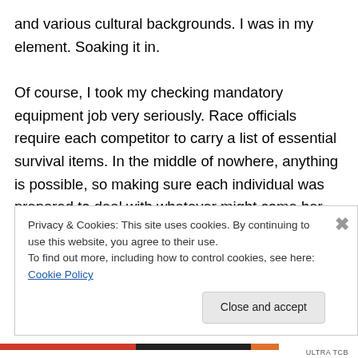and various cultural backgrounds. I was in my element. Soaking it in.

Of course, I took my checking mandatory equipment job very seriously. Race officials require each competitor to carry a list of essential survival items. In the middle of nowhere, anything is possible, so making sure each individual was prepared to deal with whatever might come her way was paramount. I didn't have any major issues. Everyone I checked-in was well prepared. I marveled at how small some competitors' items came, while others' did
Privacy & Cookies: This site uses cookies. By continuing to use this website, you agree to their use.
To find out more, including how to control cookies, see here: Cookie Policy
Close and accept